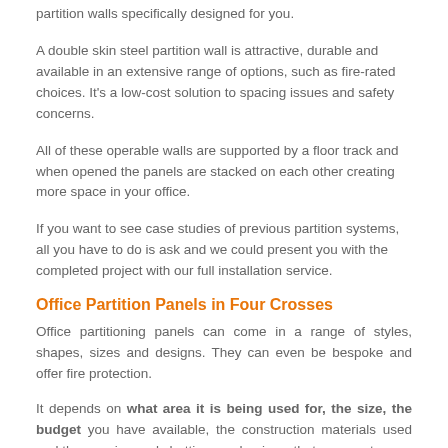partition walls specifically designed for you.
A double skin steel partition wall is attractive, durable and available in an extensive range of options, such as fire-rated choices. It's a low-cost solution to spacing issues and safety concerns.
All of these operable walls are supported by a floor track and when opened the panels are stacked on each other creating more space in your office.
If you want to see case studies of previous partition systems, all you have to do is ask and we could present you with the completed project with our full installation service.
Office Partition Panels in Four Crosses
Office partitioning panels can come in a range of styles, shapes, sizes and designs. They can even be bespoke and offer fire protection.
It depends on what area it is being used for, the size, the budget you have available, the construction materials used and the opening and shutting mechanisms that you want.